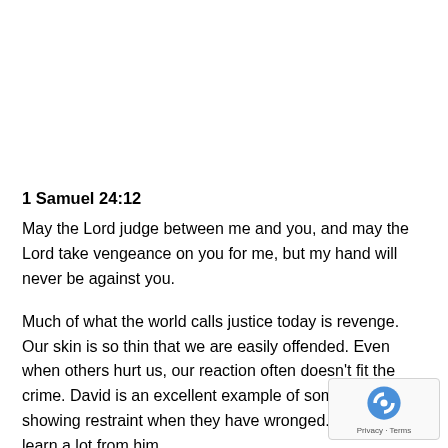1 Samuel 24:12
May the Lord judge between me and you, and may the Lord take vengeance on you for me, but my hand will never be against you.
Much of what the world calls justice today is revenge. Our skin is so thin that we are easily offended. Even when others hurt us, our reaction often doesn't fit the crime. David is an excellent example of someone showing restraint when they have wronged. We can learn a lot from him.